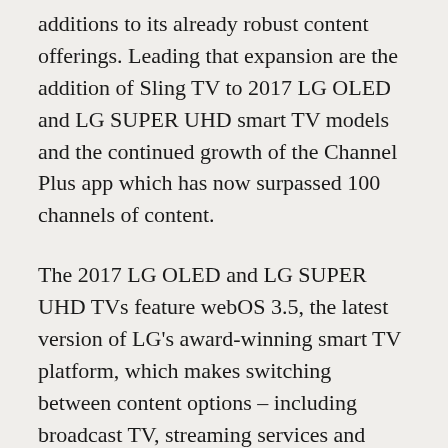additions to its already robust content offerings. Leading that expansion are the addition of Sling TV to 2017 LG OLED and LG SUPER UHD smart TV models and the continued growth of the Channel Plus app which has now surpassed 100 channels of content.
The 2017 LG OLED and LG SUPER UHD TVs feature webOS 3.5, the latest version of LG's award-winning smart TV platform, which makes switching between content options – including broadcast TV, streaming services and external devices – simple and fast. With the LG Magic Remote and refined launcher bar, viewers have access to a limitless world of premium content – including 4K Ultra HD and high dynamic range (HDR) streaming content – from the most popular entertainment providers including Netflix, Amazon Video and Vudu, as well as Sling TV and